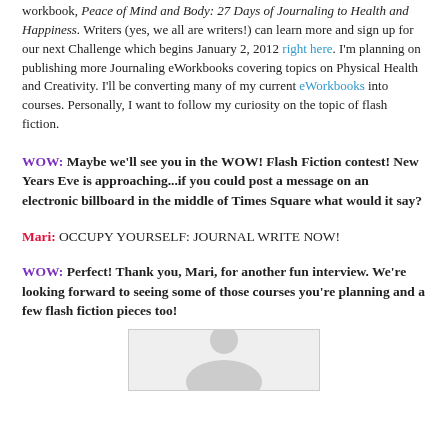workbook, Peace of Mind and Body: 27 Days of Journaling to Health and Happiness. Writers (yes, we all are writers!) can learn more and sign up for our next Challenge which begins January 2, 2012 right here. I'm planning on publishing more Journaling eWorkbooks covering topics on Physical Health and Creativity. I'll be converting many of my current eWorkbooks into courses. Personally, I want to follow my curiosity on the topic of flash fiction.
WOW: Maybe we'll see you in the WOW! Flash Fiction contest! New Years Eve is approaching...if you could post a message on an electronic billboard in the middle of Times Square what would it say?
Mari: OCCUPY YOURSELF: JOURNAL WRITE NOW!
WOW: Perfect! Thank you, Mari, for another fun interview. We're looking forward to seeing some of those courses you're planning and a few flash fiction pieces too!
[Figure (photo): Partial photo of a person, cropped at the bottom of the page]